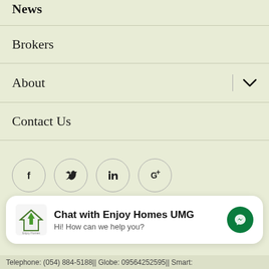News
Brokers
About
Contact Us
[Figure (other): Social media icons: Facebook, Twitter, LinkedIn, Google+]
Enjoy Realty & Development Corporation  /  Website Development by UMG DIGITAL.
Chat with Enjoy Homes UMG
Hi! How can we help you?
Telephone: (054) 884-5188|| Globe: 09564252595|| Smart: